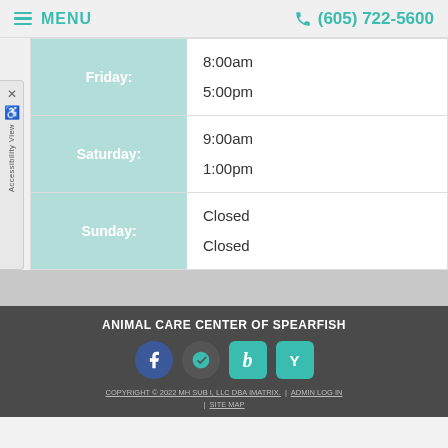MENU | (605) 722-5600
| Day | Hours |
| --- | --- |
| Friday: | 8:00am
5:00pm |
| Saturday: | 9:00am
1:00pm |
| Sunday: | Closed
Closed |
ANIMAL CARE CENTER OF SPEARFISH
[Figure (logo): Social media icons: Facebook, Yelp, Bing, YP]
COPYRIGHT © 2022 MH SUB I, LLC DBA IMATRIX. | ADMIN LOG IN | SITE MAP